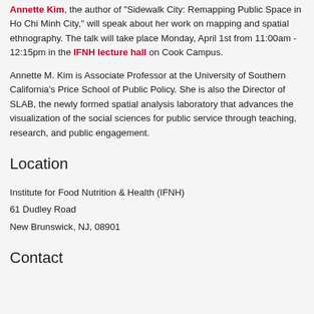Annette Kim, the author of "Sidewalk City: Remapping Public Space in Ho Chi Minh City," will speak about her work on mapping and spatial ethnography. The talk will take place Monday, April 1st from 11:00am - 12:15pm in the IFNH lecture hall on Cook Campus.
Annette M. Kim is Associate Professor at the University of Southern California's Price School of Public Policy. She is also the Director of SLAB, the newly formed spatial analysis laboratory that advances the visualization of the social sciences for public service through teaching, research, and public engagement.
Location
Institute for Food Nutrition & Health (IFNH)
61 Dudley Road
New Brunswick, NJ, 08901
Contact